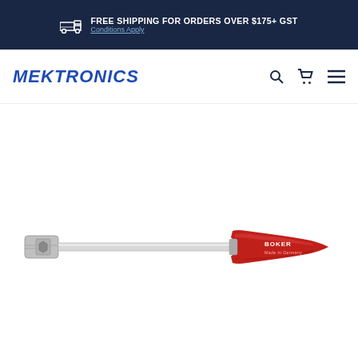FREE SHIPPING FOR ORDERS OVER $175+ GST — Conditions Apply
[Figure (logo): Mektronics logo in bold italic blue text]
[Figure (photo): Boker nut driver / socket screwdriver with red handle and chrome shaft, made in Germany]